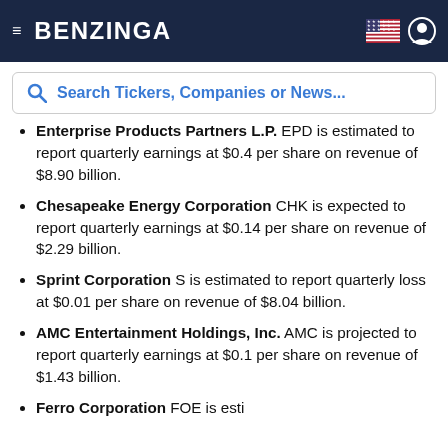BENZINGA
Search Tickers, Companies or News...
Enterprise Products Partners L.P. EPD is estimated to report quarterly earnings at $0.4 per share on revenue of $8.90 billion.
Chesapeake Energy Corporation CHK is expected to report quarterly earnings at $0.14 per share on revenue of $2.29 billion.
Sprint Corporation S is estimated to report quarterly loss at $0.01 per share on revenue of $8.04 billion.
AMC Entertainment Holdings, Inc. AMC is projected to report quarterly earnings at $0.1 per share on revenue of $1.43 billion.